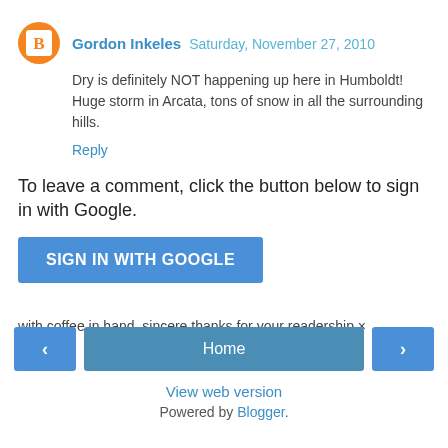Gordon Inkeles  Saturday, November 27, 2010
Dry is definitely NOT happening up here in Humboldt! Huge storm in Arcata, tons of snow in all the surrounding hills.
Reply
To leave a comment, click the button below to sign in with Google.
SIGN IN WITH GOOGLE
with coffee in hand, sincere thanks for your readership ×
‹
Home
›
View web version
Powered by Blogger.